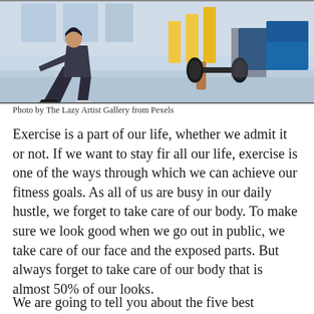[Figure (photo): Gym photo showing person doing lunges on the left and person lifting a dumbbell on the right, bright gym background with exercise equipment]
Photo by The Lazy Artist Gallery from Pexels
Exercise is a part of our life, whether we admit it or not. If we want to stay fir all our life, exercise is one of the ways through which we can achieve our fitness goals. As all of us are busy in our daily hustle, we forget to take care of our body. To make sure we look good when we go out in public, we take care of our face and the exposed parts. But always forget to take care of our body that is almost 50% of our looks.
We are going to tell you about the five best